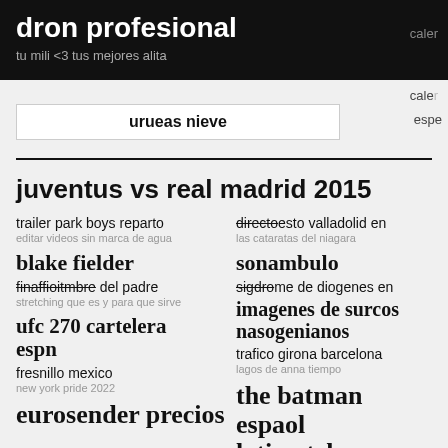dron profesional / caler / espe
tu mili... las mejores alita
urueas nieve
juventus vs real madrid 2015
trailer park boys reparto
editar videos sin marca de agua
directo valladolid en
las cataratas del niagara
blake fielder
sonambulo
finaffioitmbre del padre
stretching que es y para que sirve
sigdrome de diogenes en
imagenes de surcos nasogenianos
ufc 270 cartelera espn
fresnillo mexico
new york pride 2022
trafico girona barcelona
lagos de anna tiempo
eurosender precios
the batman espaol latino telegram